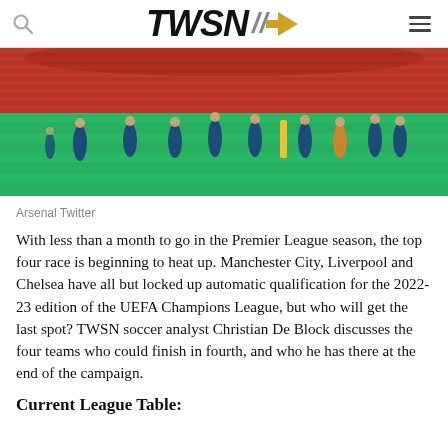TWSN
[Figure (photo): Football players in blue training kits warming up on a large red-seated stadium pitch (Arsenal Emirates Stadium)]
Arsenal Twitter
With less than a month to go in the Premier League season, the top four race is beginning to heat up. Manchester City, Liverpool and Chelsea have all but locked up automatic qualification for the 2022-23 edition of the UEFA Champions League, but who will get the last spot? TWSN soccer analyst Christian De Block discusses the four teams who could finish in fourth, and who he has there at the end of the campaign.
Current League Table: